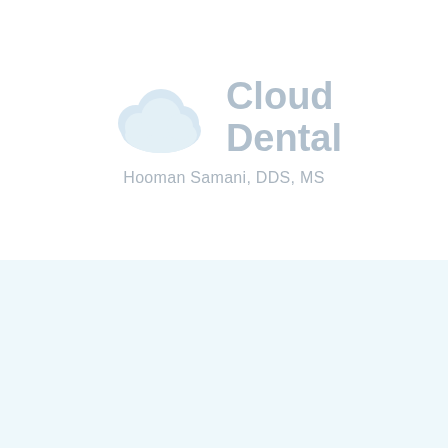[Figure (logo): Cloud Dental logo with a light blue cloud icon on the left and the text 'Cloud Dental' in gray on the right, with subtitle 'Hooman Samani, DDS, MS' below]